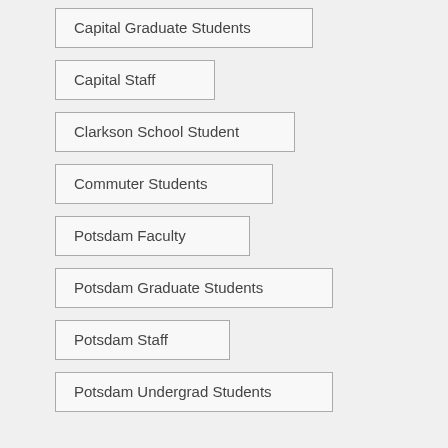Capital Graduate Students
Capital Staff
Clarkson School Student
Commuter Students
Potsdam Faculty
Potsdam Graduate Students
Potsdam Staff
Potsdam Undergrad Students